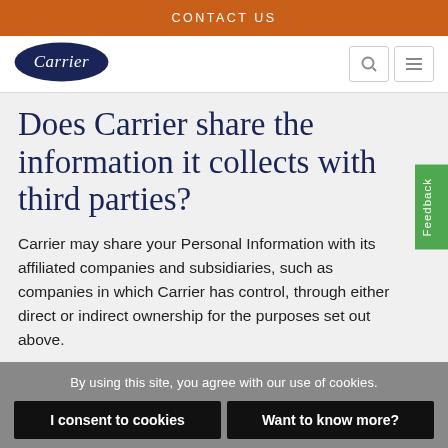CONTACT US
[Figure (logo): Carrier logo - dark blue oval with Carrier text in white]
Does Carrier share the information it collects with third parties?
Carrier may share your Personal Information with its affiliated companies and subsidiaries, such as companies in which Carrier has control, through either direct or indirect ownership for the purposes set out above.
By using this site, you agree with our use of cookies.
I consent to cookies
Want to know more?
Read our Cookie Policy